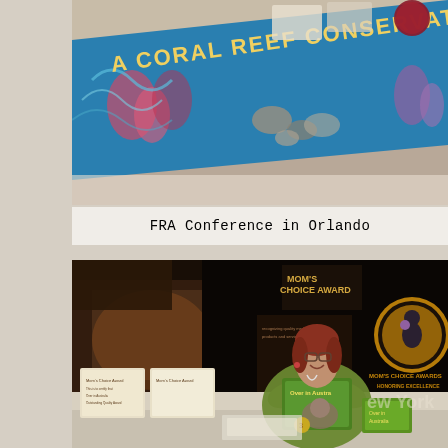[Figure (photo): Photo of a Coral Reef Conservation Program banner displayed at a conference table, with coral reef artwork printed on a blue banner. Fruit visible in background.]
FRA Conference in Orlando
[Figure (photo): Photo of a woman seated at a conference booth table, smiling and holding a children's book titled 'Over in Australia'. Behind her are Mom's Choice Awards banners with logos reading 'Honoring Excellence'. Award certificates and additional books are visible on the table. A 'New York' promotional banner is visible in the background.]